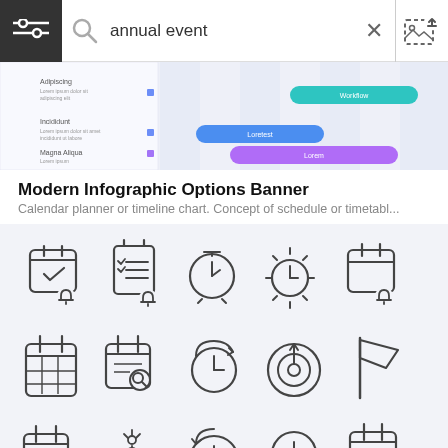[Figure (screenshot): Search bar UI with hamburger menu icon, magnifier, text 'annual event', close X button, and upload image icon]
[Figure (infographic): Gantt chart / timeline infographic preview with colored bars (teal, blue, purple) on striped background]
Modern Infographic Options Banner
Calendar planner or timeline chart. Concept of schedule or timetabl...
[Figure (illustration): Grid of 15 outline icons related to annual events: calendar with checkmark and bell, checklist with bell, stopwatch, clock with rays, calendar with bell, calendar grid, calendar with magnifier, clock with refresh arrow, target/dartboard, flag, calendar with clock, hand with flower, history clock, clock with exclamation, calendar with checkmark]